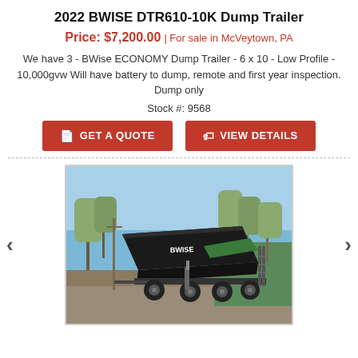2022 BWISE DTR610-10K Dump Trailer
Price: $7,200.00 | For sale in McVeytown, PA
We have 3 - BWise ECONOMY Dump Trailer - 6 x 10 - Low Profile - 10,000gvw Will have battery to dump, remote and first year inspection. Dump only
Stock #: 9568
[Figure (photo): Black BWISE dump trailer with bed raised, photographed outdoors with trees and a building in background, sunny day with blue sky.]